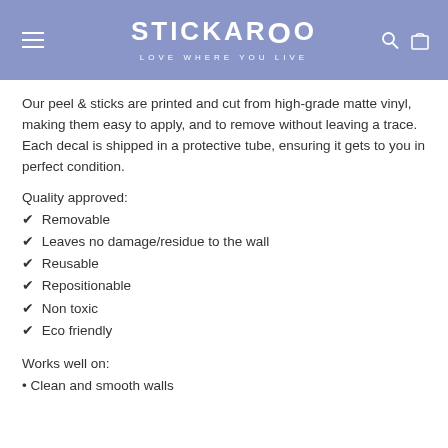STICKAROO — LOVE WHERE YOU LIVE
Our peel & sticks are printed and cut from high-grade matte vinyl, making them easy to apply, and to remove without leaving a trace. Each decal is shipped in a protective tube, ensuring it gets to you in perfect condition.
Quality approved:
✔ Removable
✔ Leaves no damage/residue to the wall
✔ Reusable
✔ Repositionable
✔ Non toxic
✔ Eco friendly
Works well on:
• Clean and smooth walls